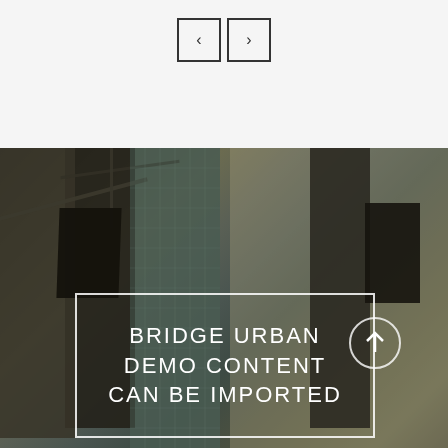[Figure (screenshot): Navigation buttons with left and right chevron arrows in square borders on a light gray background]
[Figure (photo): Urban cityscape with tall buildings and cranes in dark muted tones. A white bordered rectangle overlays the lower portion with the text 'BRIDGE URBAN DEMO CONTENT CAN BE IMPORTED' in white uppercase letters. A circular arrow/up button is visible on the right side of the rectangle.]